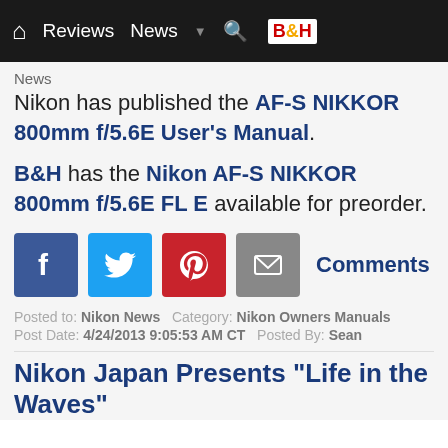Home | Reviews | News | Search | B&H
News
Nikon has published the AF-S NIKKOR 800mm f/5.6E FL User's Manual.
B&H has the Nikon AF-S NIKKOR 800mm f/5.6E FL E available for preorder.
[Figure (infographic): Social sharing icons: Facebook, Twitter, Pinterest, Email, and Comments link]
Posted to: Nikon News   Category: Nikon Owners Manuals
Post Date: 4/24/2013 9:05:53 AM CT   Posted By: Sean
Nikon Japan Presents "Life in the Waves"